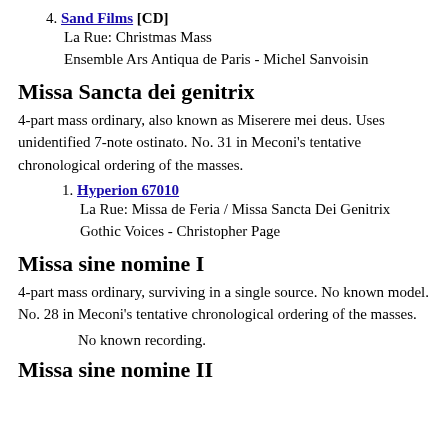4. Sand Films [CD]
La Rue: Christmas Mass
Ensemble Ars Antiqua de Paris - Michel Sanvoisin
Missa Sancta dei genitrix
4-part mass ordinary, also known as Miserere mei deus. Uses unidentified 7-note ostinato. No. 31 in Meconi's tentative chronological ordering of the masses.
1. Hyperion 67010
La Rue: Missa de Feria / Missa Sancta Dei Genitrix
Gothic Voices - Christopher Page
Missa sine nomine I
4-part mass ordinary, surviving in a single source. No known model. No. 28 in Meconi's tentative chronological ordering of the masses.
No known recording.
Missa sine nomine II